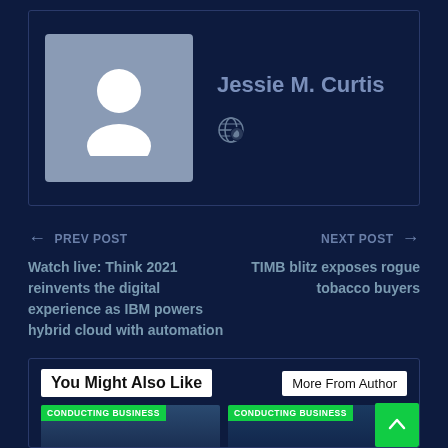[Figure (photo): Author profile box with avatar placeholder and name Jessie M. Curtis with globe icon]
Jessie M. Curtis
← PREV POST
Watch live: Think 2021 reinvents the digital experience as IBM powers hybrid cloud with automation
NEXT POST →
TIMB blitz exposes rogue tobacco buyers
You Might Also Like
More From Author
CONDUCTING BUSINESS
CONDUCTING BUSINESS